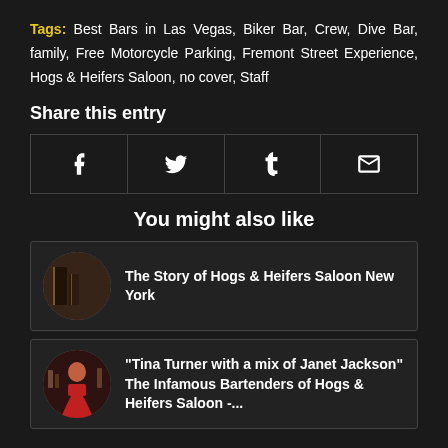Tags: Best Bars in Las Vegas, Biker Bar, Crew, Dive Bar, family, Free Motorcycle Parking, Fremont Street Experience, Hogs & Heifers Saloon, no cover, Staff
Share this entry
[Figure (other): Social share buttons for Facebook, Twitter, Tumblr, and Email]
You might also like
The Story of Hogs & Heifers Saloon New York
"Tina Turner with a mix of Janet Jackson" The Infamous Bartenders of Hogs & Heifers Saloon -...